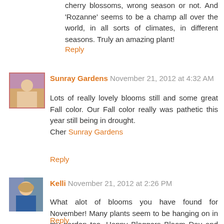cherry blossoms, wrong season or not. And 'Rozanne' seems to be a champ all over the world, in all sorts of climates, in different seasons. Truly an amazing plant!
Reply
Sunray Gardens November 21, 2012 at 4:32 AM
Lots of really lovely blooms still and some great Fall color. Our Fall color really was pathetic this year still being in drought.
Cher Sunray Gardens
Reply
Kelli November 21, 2012 at 2:26 PM
What alot of blooms you have found for November! Many plants seem to be hanging on in my garden too. Happy Bloggers Bloom Day and thanks for visiting my Northern Ireland garden blog.
Reply